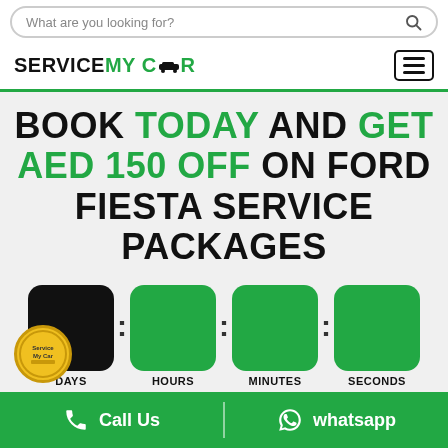What are you looking for?
SERVICE MY CAR
BOOK TODAY AND GET AED 150 OFF ON FORD FIESTA SERVICE PACKAGES
DAYS : HOURS : MINUTES : SECONDS
[Figure (illustration): Gold circular badge/seal logo for Service My Car]
BOOK NOW
Call Us   whatsapp